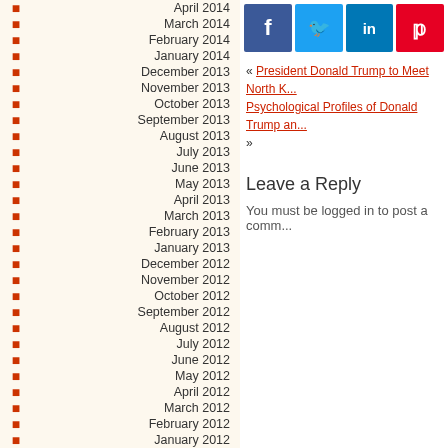April 2014
March 2014
February 2014
January 2014
December 2013
November 2013
October 2013
September 2013
August 2013
July 2013
June 2013
May 2013
April 2013
March 2013
February 2013
January 2013
December 2012
November 2012
October 2012
September 2012
August 2012
July 2012
June 2012
May 2012
April 2012
March 2012
February 2012
January 2012
[Figure (screenshot): Social media share buttons: Facebook, Twitter, LinkedIn, Pinterest]
« President Donald Trump to Meet North K... Psychological Profiles of Donald Trump an... »
Leave a Reply
You must be logged in to post a comm...